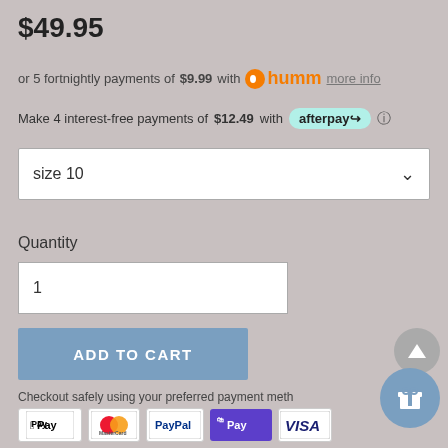$49.95
or 5 fortnightly payments of $9.99 with humm more info
Make 4 interest-free payments of $12.49 with afterpay
size 10
Quantity
1
ADD TO CART
Checkout safely using your preferred payment method
[Figure (infographic): Payment method logos: Apple Pay, Mastercard, PayPal, Shopify Pay, VISA]